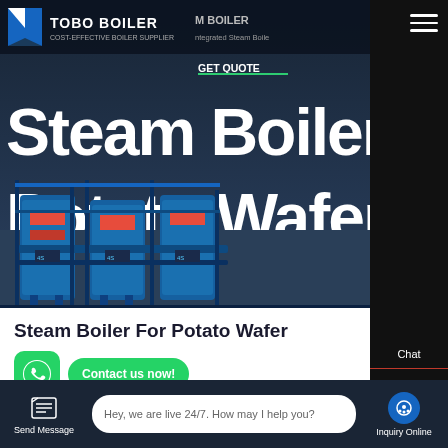[Figure (screenshot): TOBO Boiler website header with logo, navigation, and hero image of industrial steam boilers with text 'Steam Boiler For Potato Wafers']
Steam Boiler For Potato Wafers
[Figure (screenshot): WhatsApp contact button (green) and 'Contact us now!' green button]
HOT NEWS
Hey, we are live 24/7. How may I help you?
Send Message
Inquiry Online